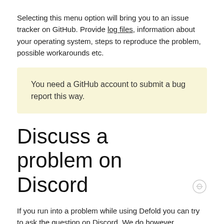Selecting this menu option will bring you to an issue tracker on GitHub. Provide log files, information about your operating system, steps to reproduce the problem, possible workarounds etc.
You need a GitHub account to submit a bug report this way.
Discuss a problem on Discord
If you run into a problem while using Defold you can try to ask the question on Discord. We do however recommend that complex questions and in-depth discussions are posted on the forum. Also note that